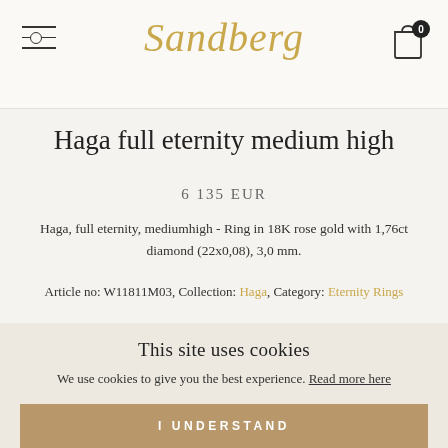Sandberg — navigation header with logo, hamburger menu, and cart (0)
Haga full eternity medium high
6 135 EUR
Haga, full eternity, mediumhigh - Ring in 18K rose gold with 1,76ct diamond (22x0,08), 3,0 mm.
Article no: W11811M03, Collection: Haga, Category: Eternity Rings
MATERIAL
This site uses cookies
We use cookies to give you the best experience. Read more here
I UNDERSTAND